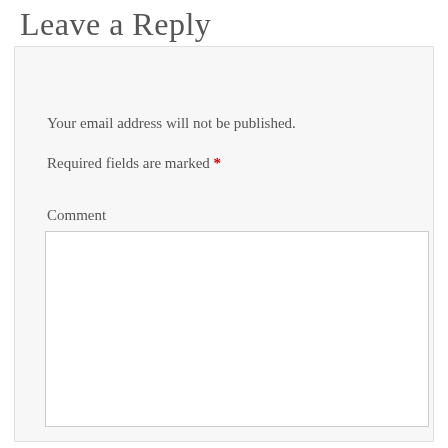Leave a Reply
Your email address will not be published.
Required fields are marked *
Comment
Name *